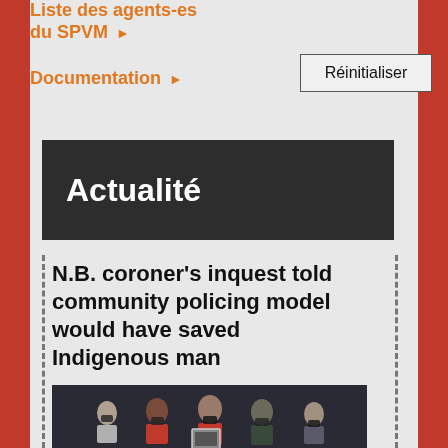Liste des agents-es du SPVM ▶
Documentation ▶
Réinitialiser
Actualité
N.B. coroner's inquest told community policing model would have saved Indigenous man
[Figure (photo): Group of people wearing masks, some holding a framed photograph, in an indoor setting]